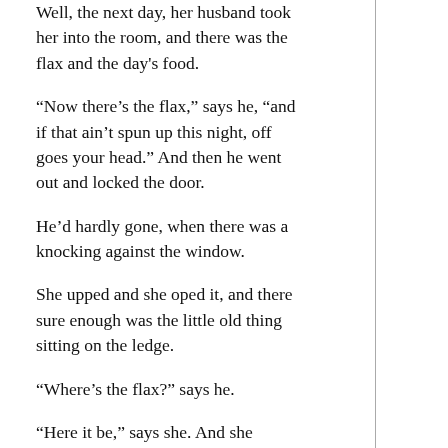Well, the next day, her husband took her into the room, and there was the flax and the day's food.
“Now there’s the flax,” says he, “and if that ain’t spun up this night, off goes your head.” And then he went out and locked the door.
He’d hardly gone, when there was a knocking against the window.
She upped and she oped it, and there sure enough was the little old thing sitting on the ledge.
“Where’s the flax?” says he.
“Here it be,” says she. And she